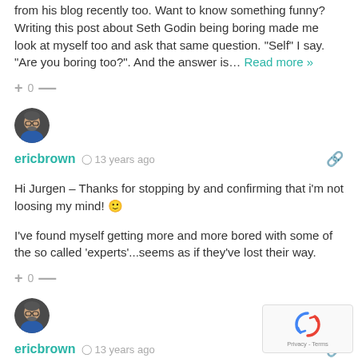from his blog recently too. Want to know something funny? Writing this post about Seth Godin being boring made me look at myself too and ask that same question. “Self” I say. “Are you boring too?”. And the answer is… Read more »
+ 0 —
[Figure (photo): Avatar photo of user ericbrown - circular profile picture showing a man with glasses]
ericbrown   13 years ago
Hi Jurgen – Thanks for stopping by and confirming that i'm not loosing my mind! 🙂
I've found myself getting more and more bored with some of the so called 'experts'...seems as if they've lost their way.
+ 0 —
[Figure (photo): Avatar photo of user ericbrown - circular profile picture showing a man with glasses]
ericbrown   13 years ago